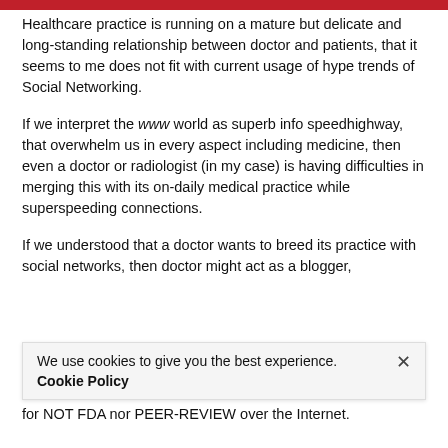Healthcare practice is running on a mature but delicate and long-standing relationship between doctor and patients, that it seems to me does not fit with current usage of hype trends of Social Networking.
If we interpret the www world as superb info speedhighway, that overwhelm us in every aspect including medicine, then even a doctor or radiologist (in my case) is having difficulties in merging this with its on-daily medical practice while superspeeding connections.
If we understood that a doctor wants to breed its practice with social networks, then doctor might act as a blogger,
We use cookies to give you the best experience.
Cookie Policy
for NOT FDA nor PEER-REVIEW over the Internet.